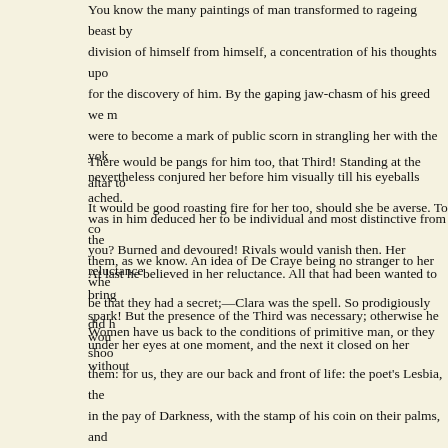You know the many paintings of man transformed to rageing beast by division of himself from himself, a concentration of his thoughts upon for the discovery of him. By the gaping jaw-chasm of his greed we ma were to become a mark of public scorn in strangling her with the yoke nevertheless conjured her before him visually till his eyeballs ached. H was in him deduced her to be individual and most distinctive from the them, as we know. An idea of De Craye being no stranger to her when be that they had a secret;—Clara was the spell. So prodigiously did he under her eyes at one moment, and the next it closed on her without m
There would be pangs for him too, that Third! Standing at the altar to s
It would be good roasting fire for her too, should she be averse. To co you? Burned and devoured! Rivals would vanish then. Her reluctance
At last he believed in her reluctance. All that had been wanted to bring spark! But the presence of the Third was necessary; otherwise he woul
Women have us back to the conditions of primitive man, or they shoo them: for us, they are our back and front of life: the poet's Lesbia, the p in the pay of Darkness, with the stamp of his coin on their palms, and t us out; they have us by our leanings. They are to us what we hold of b still, that is because primitive men abound and will have their pasture. woman is the primitive egoism seeking to refine in a blood gone to sav by a rifle when his paw is rigid on quick flesh; he tears the flesh for ra victim beneath his paw, but there was the sex to mangle. Much as he